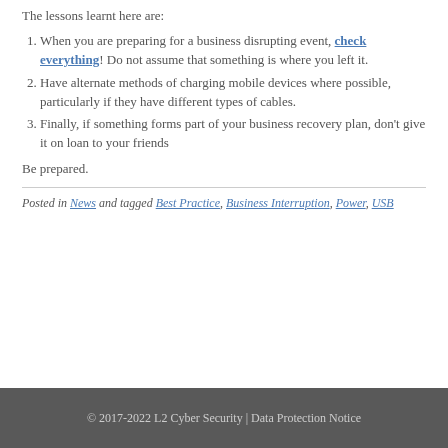The lessons learnt here are:
When you are preparing for a business disrupting event, check everything! Do not assume that something is where you left it.
Have alternate methods of charging mobile devices where possible, particularly if they have different types of cables.
Finally, if something forms part of your business recovery plan, don't give it on loan to your friends
Be prepared.
Posted in News and tagged Best Practice, Business Interruption, Power, USB
© 2017-2022 L2 Cyber Security | Data Protection Notice